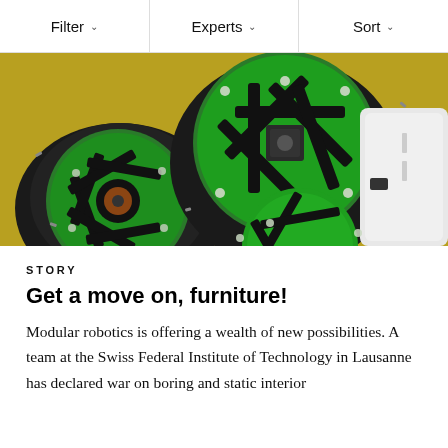Filter   Experts   Sort
[Figure (photo): Close-up photo of modular robotic units showing green circuit boards mounted in black casings with a white body, arranged on a golden/yellow surface. Three circular green PCBs with black structural elements are visible.]
STORY
Get a move on, furniture!
Modular robotics is offering a wealth of new possibilities. A team at the Swiss Federal Institute of Technology in Lausanne has declared war on boring and static interior